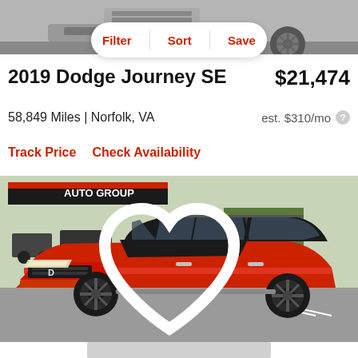[Figure (photo): Top portion of a gray SUV vehicle, showing the front bumper and wheel area on a gray background.]
[Figure (screenshot): Filter/Sort/Save navigation bar with white pill-shaped background and red bold text buttons.]
2019 Dodge Journey SE
$21,474
58,849 Miles | Norfolk, VA
est. $310/mo
Track Price   Check Availability
[Figure (photo): Red and black Dodge Journey SE SUV parked in a dealership lot. The vehicle has a black hood stripe and black wheels. An AUTO GROUP banner is visible in the background. A heart/favorite icon is visible in the top-right corner of the image.]
[Figure (photo): Bottom partial gray thumbnail strip of another vehicle or listing.]